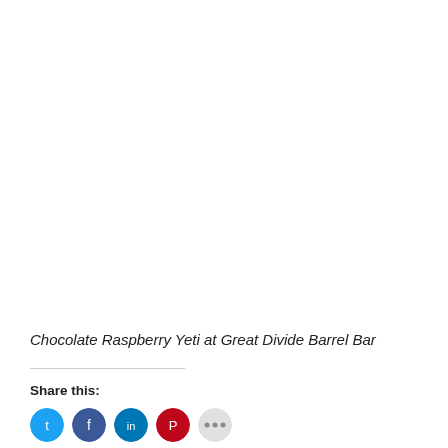Chocolate Raspberry Yeti at Great Divide Barrel Bar
Share this: